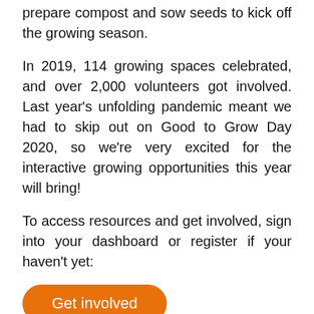prepare compost and sow seeds to kick off the growing season.
In 2019, 114 growing spaces celebrated, and over 2,000 volunteers got involved. Last year's unfolding pandemic meant we had to skip out on Good to Grow Day 2020, so we're very excited for the interactive growing opportunities this year will bring!
To access resources and get involved, sign into your dashboard or register if your haven't yet:
[Figure (other): Orange rounded rectangle button with white text reading 'Get involved']
Once registered, you will have access to a resource pack full of ideas and materials to help you run online and in-person events, plus info about our #GoodtoGrow2021 photo competition - a chance to win £100 for your garden.